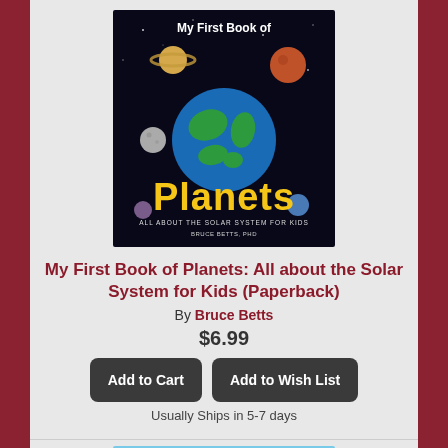[Figure (photo): Book cover: My First Book of Planets - All about the Solar System for Kids, by Bruce Betts PhD. Dark space background with Earth, Saturn, Mars, Moon, and other planets.]
My First Book of Planets: All about the Solar System for Kids (Paperback)
By Bruce Betts
$6.99
Add to Cart
Add to Wish List
Usually Ships in 5-7 days
[Figure (photo): Book cover: Don't Let the Pigeon Finish This Activity Book! by Mo Willems. Features the pigeon cartoon bird on a light blue background with speech bubbles.]